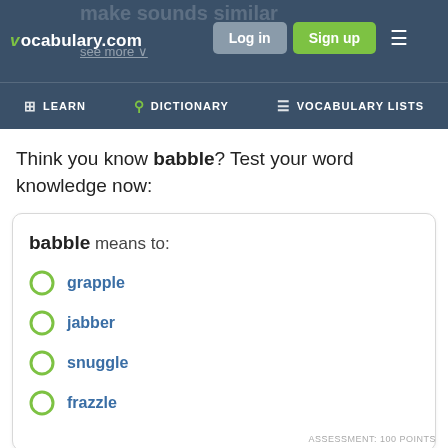vocabulary.com | Log in | Sign up | LEARN | DICTIONARY | VOCABULARY LISTS
Think you know babble? Test your word knowledge now:
babble means to:
grapple
jabber
snuggle
frazzle
ASSESSMENT: 100 POINTS